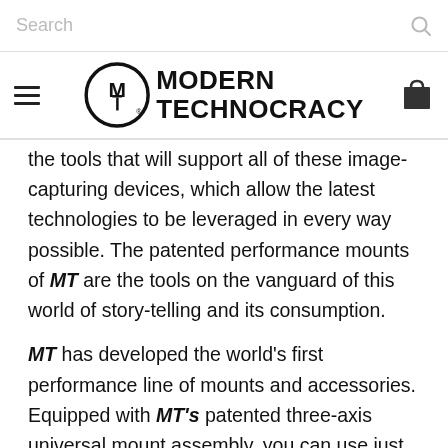Search
[Figure (logo): Modern Technocracy logo with hamburger menu and cart icon in navigation bar]
the tools that will support all of these image-capturing devices, which allow the latest technologies to be leveraged in every way possible. The patented performance mounts of MT are the tools on the vanguard of this world of story-telling and its consumption.
MT has developed the world's first performance line of mounts and accessories. Equipped with MT's patented three-axis universal mount assembly, you can use just about any action cam, camera, smartphone, devices, and more! Additionally, we use sustainably sourced